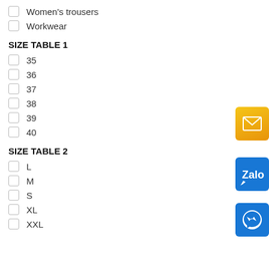Women's trousers
Workwear
SIZE TABLE 1
35
36
37
38
39
40
SIZE TABLE 2
L
M
S
XL
XXL
[Figure (logo): Email envelope icon on orange/yellow background]
[Figure (logo): Zalo messaging app icon on blue background]
[Figure (logo): Facebook Messenger icon on blue background]